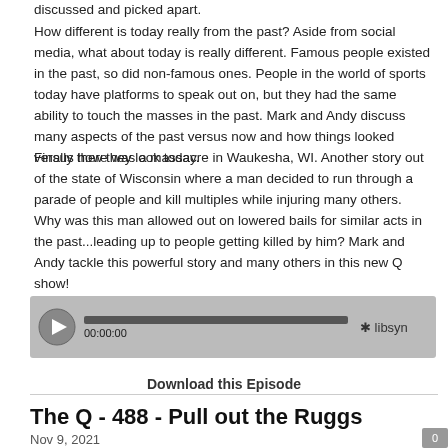discussed and picked apart.
How different is today really from the past? Aside from social media, what about today is really different. Famous people existed in the past, so did non-famous ones. People in the world of sports today have platforms to speak out on, but they had the same ability to touch the masses in the past. Mark and Andy discuss many aspects of the past versus now and how things looked versus how they look today.
Finally there was a massacre in Waukesha, WI. Another story out of the state of Wisconsin where a man decided to run through a parade of people and kill multiples while injuring many others. Why was this man allowed out on lowered bails for similar acts in the past...leading up to people getting killed by him? Mark and Andy tackle this powerful story and many others in this new Q show!
[Figure (other): Audio player widget with play button, progress bar showing 00:00:00, and libsyn logo]
Download this Episode
The Q - 488 - Pull out the Ruggs
Nov 9, 2021